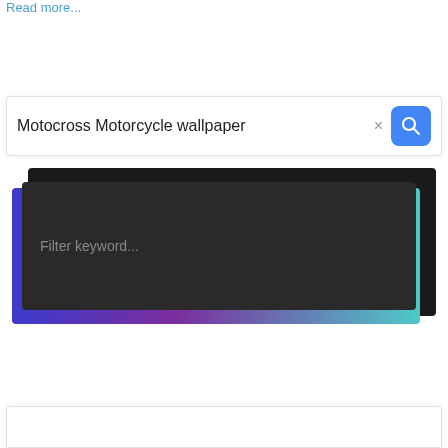Read more...
[Figure (screenshot): Search bar interface showing query 'Motocross Motorcycle wallpaper' with a blue search button, and below it a dark-themed app screenshot showing a 'Filter keyword...' input field with a gradient border (blue, purple, teal).]
[Figure (screenshot): Bottom portion of a white card/panel starting to appear at the bottom of the page.]